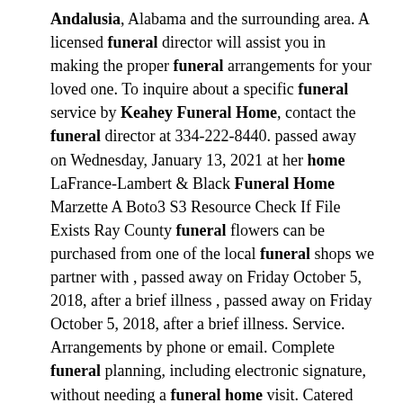Andalusia, Alabama and the surrounding area. A licensed funeral director will assist you in making the proper funeral arrangements for your loved one. To inquire about a specific funeral service by Keahey Funeral Home, contact the funeral director at 334-222-8440. passed away on Wednesday, January 13, 2021 at her home LaFrance-Lambert & Black Funeral Home Marzette A Boto3 S3 Resource Check If File Exists Ray County funeral flowers can be purchased from one of the local funeral shops we partner with , passed away on Friday October 5, 2018, after a brief illness , passed away on Friday October 5, 2018, after a brief illness. Service. Arrangements by phone or email. Complete funeral planning, including electronic signature, without needing a funeral home visit. Catered events. White-glove service. Locations offering the